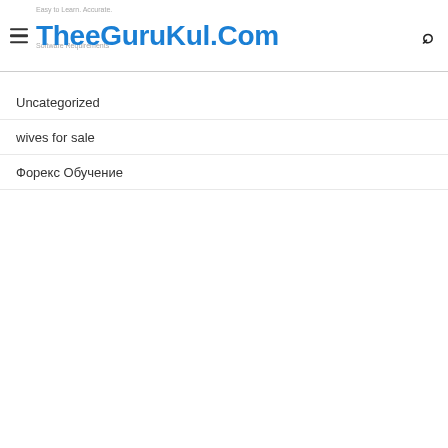TheeGuruKul.Com
Uncategorized
wives for sale
Форекс Обучение